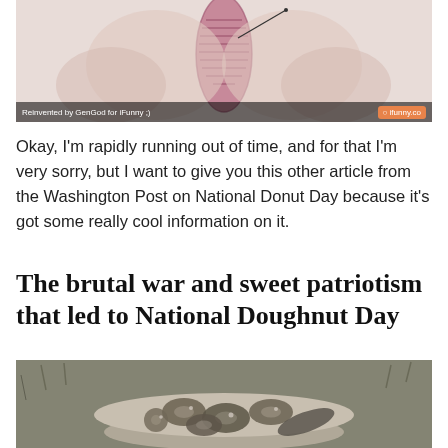[Figure (photo): Close-up illustration of what appears to be a medical or anatomical diagram showing a pink/purple elongated shape against a light background, with a line pointing to a detail. Watermarked with iFunny branding.]
Okay, I'm rapidly running out of time, and for that I'm very sorry, but I want to give you this other article from the Washington Post on National Donut Day because it's got some really cool information on it.
The brutal war and sweet patriotism that led to National Doughnut Day
[Figure (photo): Black and white photograph of a bowl filled with doughnuts, placed on grass.]